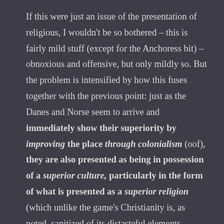If this were just an issue of the presentation of religious, I wouldn't be so bothered – this is fairly mild stuff (except for the Anchoress bit) – obnoxious and offensive, but only mildly so. But the problem is intensified by how this fuses together with the previous point: just as the Danes and Norse seem to arrive and immediately show their superiority by improving the place through colonialism (oof), they are also presented as being in possession of a superior culture, particularly in the form of what is presented as a superior religion (which unlike the game's Christianity is, as noted, sanitized of its distasteful elements – Christianity is still hegemonic, but no Norse blood sacrifices) as your Norse faith repeatedly solves problems and presents unique wisdom, whereas the